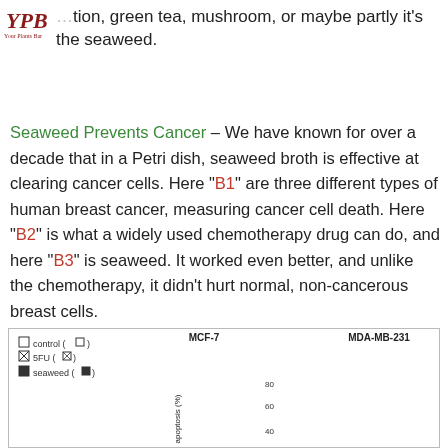[Figure (logo): YPB logo in red/maroon color, overlapping top-left corner of text]
...tion, green tea, mushroom, or maybe partly it's the seaweed.
Seaweed Prevents Cancer – We have known for over a decade that in a Petri dish, seaweed broth is effective at clearing cancer cells. Here "B1" are three different types of human breast cancer, measuring cancer cell death. Here "B2" is what a widely used chemotherapy drug can do, and here "B3" is seaweed. It worked even better, and unlike the chemotherapy, it didn't hurt normal, non-cancerous breast cells.
[Figure (bar-chart): Partial bar chart showing apoptosis (%) for MCF-7 and MDA-MB-231 breast cancer cell types, with legend showing control (open square), 5FU (crossed square), seaweed (filled square). Y-axis shows apoptosis (%) with values 40, 60, 80. Labels MCF-7 and MDA-MB-231 visible.]